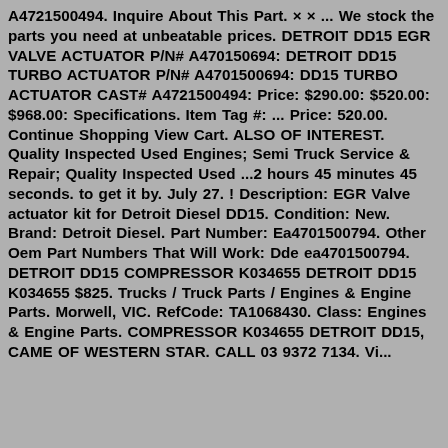A4721500494. Inquire About This Part. × × ... We stock the parts you need at unbeatable prices. DETROIT DD15 EGR VALVE ACTUATOR P/N# A470150694: DETROIT DD15 TURBO ACTUATOR P/N# A4701500694: DD15 TURBO ACTUATOR CAST# A4721500494: Price: $290.00: $520.00: $968.00: Specifications. Item Tag #: ... Price: 520.00. Continue Shopping View Cart. ALSO OF INTEREST. Quality Inspected Used Engines; Semi Truck Service & Repair; Quality Inspected Used ...2 hours 45 minutes 45 seconds. to get it by. July 27. ! Description: EGR Valve actuator kit for Detroit Diesel DD15. Condition: New. Brand: Detroit Diesel. Part Number: Ea4701500794. Other Oem Part Numbers That Will Work: Dde ea4701500794. DETROIT DD15 COMPRESSOR K034655 DETROIT DD15 K034655 $825. Trucks / Truck Parts / Engines & Engine Parts. Morwell, VIC. RefCode: TA1068430. Class: Engines & Engine Parts. COMPRESSOR K034655 DETROIT DD15, CAME OF WESTERN STAR. CALL 03 9372 7134. Vi...